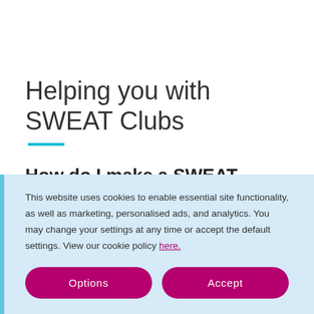Helping you with SWEAT Clubs
How do I make a SWEAT Clubs complaint using Resolver?
This website uses cookies to enable essential site functionality, as well as marketing, personalised ads, and analytics. You may change your settings at any time or accept the default settings. View our cookie policy here.
Options
Accept